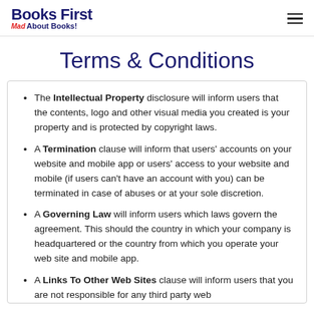Books First Mad About Books!
Terms & Conditions
The Intellectual Property disclosure will inform users that the contents, logo and other visual media you created is your property and is protected by copyright laws.
A Termination clause will inform that users' accounts on your website and mobile app or users' access to your website and mobile (if users can't have an account with you) can be terminated in case of abuses or at your sole discretion.
A Governing Law will inform users which laws govern the agreement. This should the country in which your company is headquartered or the country from which you operate your web site and mobile app.
A Links To Other Web Sites clause will inform users that you are not responsible for any third party web